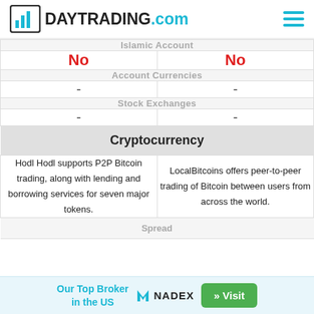DAYTRADING.com
| Islamic Account | Islamic Account |
| --- | --- |
| No | No |
| Account Currencies | Account Currencies |
| - | - |
| Stock Exchanges | Stock Exchanges |
| - | - |
| Cryptocurrency | Cryptocurrency |
| Hodl Hodl supports P2P Bitcoin trading, along with lending and borrowing services for seven major tokens. | LocalBitcoins offers peer-to-peer trading of Bitcoin between users from across the world. |
| Spread | Spread |
Our Top Broker in the US  NADEX  » Visit